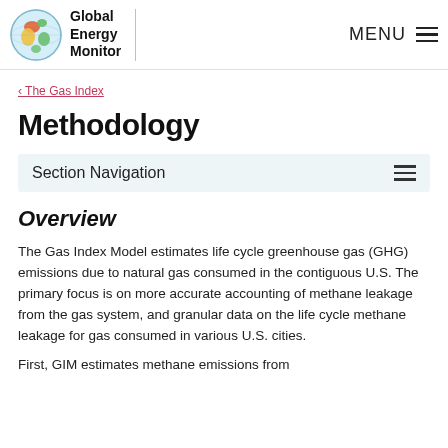Global Energy Monitor
‹ The Gas Index
Methodology
Section Navigation
Overview
The Gas Index Model estimates life cycle greenhouse gas (GHG) emissions due to natural gas consumed in the contiguous U.S. The primary focus is on more accurate accounting of methane leakage from the gas system, and granular data on the life cycle methane leakage for gas consumed in various U.S. cities.
First, GIM estimates methane emissions from